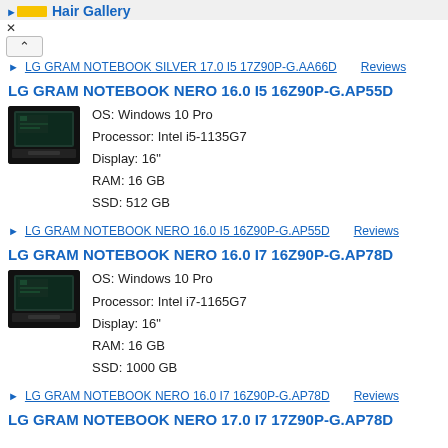Hair Gallery
LG GRAM NOTEBOOK SILVER 17.0 I5 17Z90P-G.AA66D   Reviews
LG GRAM NOTEBOOK NERO 16.0 I5 16Z90P-G.AP55D
OS: Windows 10 Pro
Processor: Intel i5-1135G7
Display: 16"
RAM: 16 GB
SSD: 512 GB
LG GRAM NOTEBOOK NERO 16.0 I5 16Z90P-G.AP55D   Reviews
LG GRAM NOTEBOOK NERO 16.0 I7 16Z90P-G.AP78D
OS: Windows 10 Pro
Processor: Intel i7-1165G7
Display: 16"
RAM: 16 GB
SSD: 1000 GB
LG GRAM NOTEBOOK NERO 16.0 I7 16Z90P-G.AP78D   Reviews
LG GRAM NOTEBOOK NERO 17.0 I7 17Z90P-G.AP78D